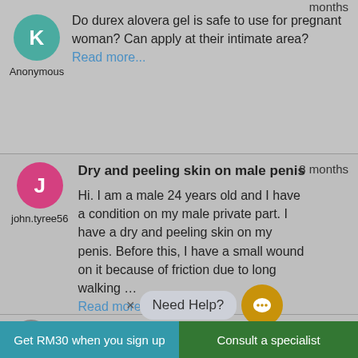months
[Figure (illustration): Teal avatar circle with letter K]
Anonymous
Do durex alovera gel is safe to use for pregnant woman? Can apply at their intimate area? Read more...
[Figure (illustration): Pink avatar circle with letter J]
john.tyree56
8 months
Dry and peeling skin on male penis
Hi. I am a male 24 years old and I have a condition on my male private part. I have a dry and peeling skin on my penis. Before this, I have a small wound on it because of friction due to long walking ... Read more...
[Figure (illustration): Gray avatar circle with letter E (partial)]
11 months
Brown spotting after intercourse
Need Help?
Get RM30 when you sign up  |  Consult a specialist